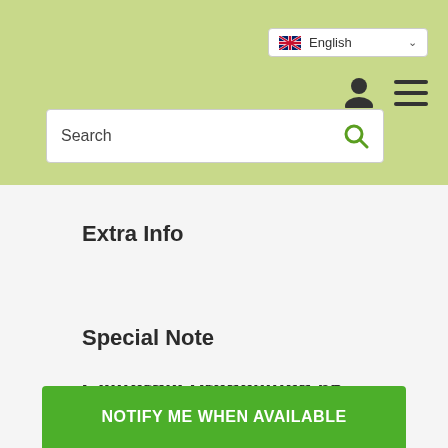[Figure (screenshot): Website header with green background, language selector showing English with UK flag, user icon, hamburger menu icon, and search box]
Extra Info
Special Note
Warnings
California Proposition 65 WARNING
NOTIFY ME WHEN AVAILABLE